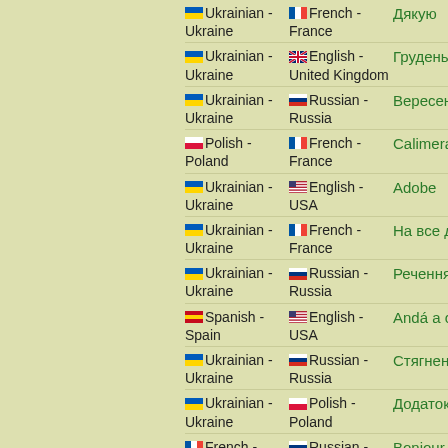Ukrainian - Ukraine | French - France | Дякую
Ukrainian - Ukraine | English - United Kingdom | Грудень
Ukrainian - Ukraine | Russian - Russia | Вересень
Polish - Poland | French - France | Calimera
Ukrainian - Ukraine | English - USA | Adobe
Ukrainian - Ukraine | French - France | На все добр
Ukrainian - Ukraine | Russian - Russia | Речення
Spanish - Spain | English - USA | Andá a caga
Ukrainian - Ukraine | Russian - Russia | Стягнення
Ukrainian - Ukraine | Polish - Poland | Додаток
French - France | Russian - Russia | Bonjour
Russian - ... | English - ... | Привет